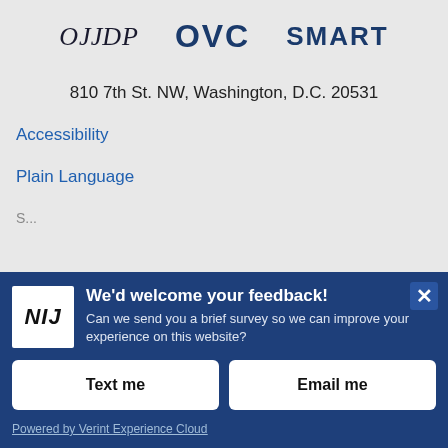[Figure (logo): OJJDP logo — italic serif text]
[Figure (logo): OVC logo — bold sans-serif blue text]
[Figure (logo): SMART logo — bold sans-serif blue text]
810 7th St. NW, Washington, D.C. 20531
Accessibility
Plain Language
[Figure (logo): NIJ logo — white box with bold italic NIJ text]
We'd welcome your feedback!
Can we send you a brief survey so we can improve your experience on this website?
Text me
Email me
Powered by Verint Experience Cloud